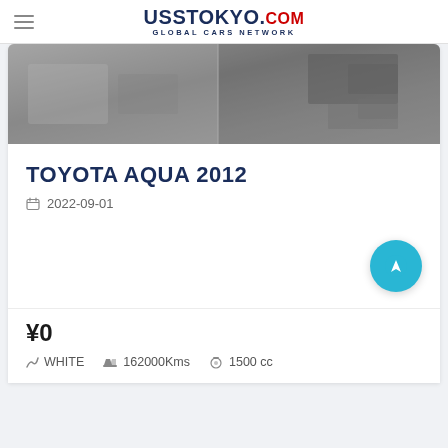USS TOKYO.COM GLOBAL CARS NETWORK
[Figure (photo): Grayscale photo of a car interior/exterior, partially visible]
TOYOTA AQUA 2012
2022-09-01
¥0
WHITE  162000Kms  1500 cc